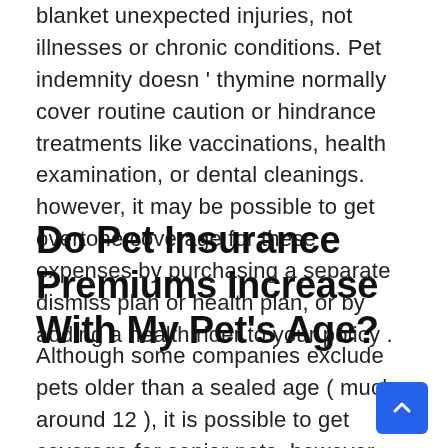blanket unexpected injuries, not illnesses or chronic conditions. Pet indemnity doesn ' thymine normally cover routine caution or hindrance treatments like vaccinations, health examination, or dental cleanings. however, it may be possible to get overtone coverage for these expenses by purchasing a separate dismiss plan or health plan, or by adding a health rider to your policy .
Do Pet Insurance Premiums Increase With My Pet's Age?
Although some companies exclude pets older than a sealed age ( much around 12 ), it is possible to get coverage for senior pets. however, you should expect higher premiums. Health risks tend to